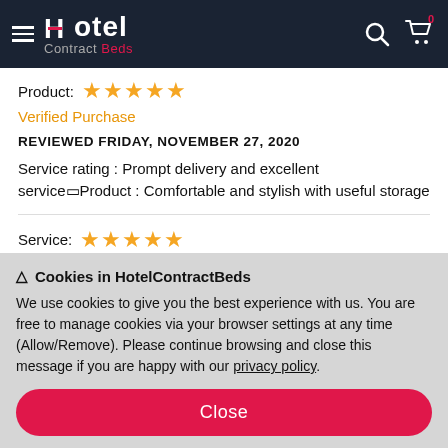Hotel Contract Beds — navigation header
Product: ★★★★★
Verified Purchase
REVIEWED FRIDAY, NOVEMBER 27, 2020
Service rating : Prompt delivery and excellent service□Product : Comfortable and stylish with useful storage
Service: ★★★★★
Product: ★★★★★
Verified Purchase
REVIEWED THURSDAY, NOVEMBER 26, 2020
⚠ Cookies in HotelContractBeds
We use cookies to give you the best experience with us. You are free to manage cookies via your browser settings at any time (Allow/Remove). Please continue browsing and close this message if you are happy with our privacy policy.
Close